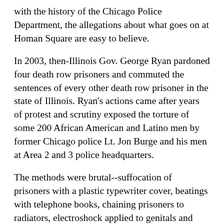with the history of the Chicago Police Department, the allegations about what goes on at Homan Square are easy to believe.
In 2003, then-Illinois Gov. George Ryan pardoned four death row prisoners and commuted the sentences of every other death row prisoner in the state of Illinois. Ryan's actions came after years of protest and scrutiny exposed the torture of some 200 African American and Latino men by former Chicago police Lt. Jon Burge and his men at Area 2 and 3 police headquarters.
The methods were brutal--suffocation of prisoners with a plastic typewriter cover, beatings with telephone books, chaining prisoners to radiators, electroshock applied to genitals and more.
It took a protracted fight, beginning with around a dozen prisoners on Illinois' death row putting together their individual stories of police torture and